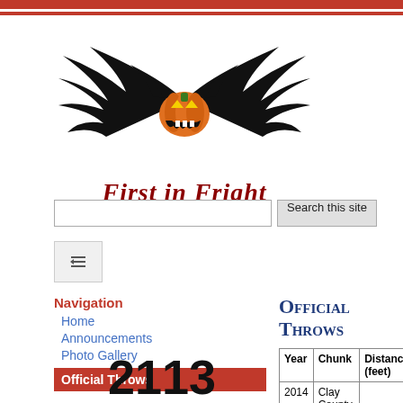[Figure (logo): First in Fright logo with winged jack-o-lantern pumpkin and text 'First in Fright' in gothic red serif font]
[Figure (screenshot): Search bar with text input and 'Search this site' button]
[Figure (screenshot): Navigation collapse/expand icon button]
Navigation
Home
Announcements
Photo Gallery
Official Throws
2113
days since
World Championship Punkin
Official Throws
| Year | Chunk | Distance (feet) |
| --- | --- | --- |
| 2014 | Clay County, NC |  |
| 2013 | WCPC | 2181 |